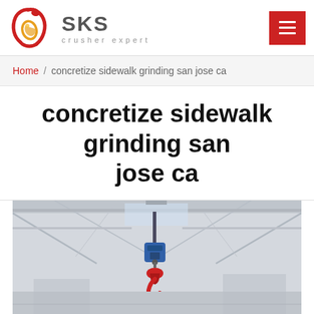[Figure (logo): SKS Crusher Expert logo with stylized red and gold circular emblem and dark grey SKS text]
Home / concretize sidewalk grinding san jose ca
concretize sidewalk grinding san jose ca
[Figure (photo): Industrial photo showing overhead crane or hoist equipment with red and blue hook mechanism hanging from ceiling of warehouse/factory]